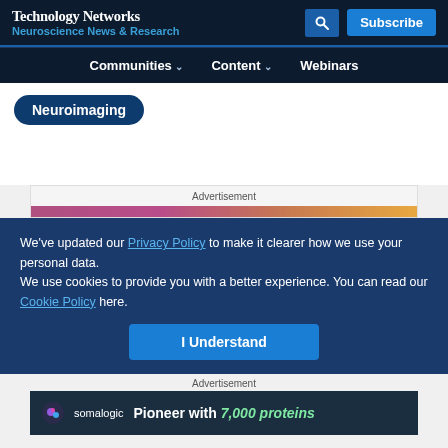Technology Networks
Neuroscience News & Research
Communities  Content  Webinars
Neuroimaging
Advertisement
We've updated our Privacy Policy to make it clearer how we use your personal data.
We use cookies to provide you with a better experience. You can read our Cookie Policy here.
I Understand
Advertisement
[Figure (logo): Somalogic advertisement banner: Pioneer with 7,000 proteins]